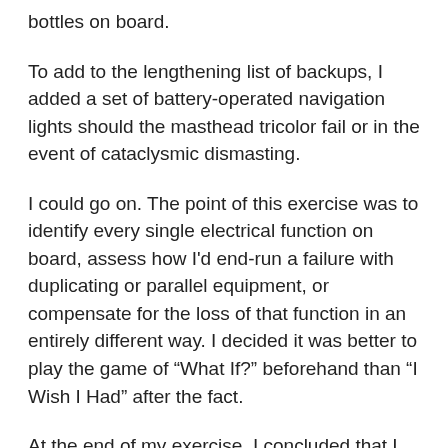bottles on board.
To add to the lengthening list of backups, I added a set of battery-operated navigation lights should the masthead tricolor fail or in the event of cataclysmic dismasting.
I could go on. The point of this exercise was to identify every single electrical function on board, assess how I'd end-run a failure with duplicating or parallel equipment, or compensate for the loss of that function in an entirely different way. I decided it was better to play the game of “What If?” beforehand than “I Wish I Had” after the fact.
At the end of my exercise, I concluded that I needn't have worried. I began my sailing career in a 26-foot Belizean sloop made